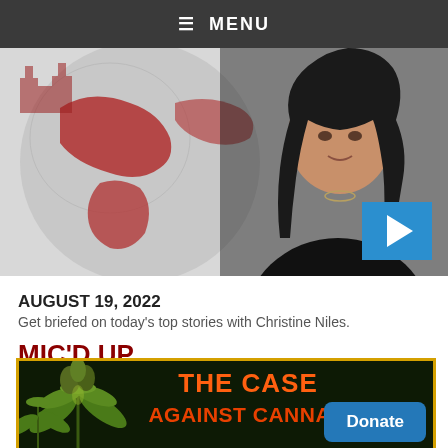≡ MENU
[Figure (photo): Hero image showing a woman (Christine Niles) on the right side against a reddish globe illustration background, with a blue play button in the bottom right corner]
AUGUST 19, 2022
Get briefed on today's top stories with Christine Niles.
MIC'D UP
[Figure (photo): Promotional image with cannabis plants on left side and text 'THE CASE AGAINST CANNABIS' in orange/yellow gradient lettering, with yellow border, and a Donate button]